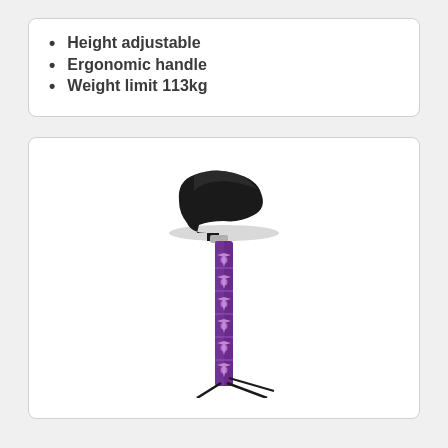Height adjustable
Ergonomic handle
Weight limit 113kg
[Figure (photo): A walking cane with a black ergonomic T-shaped handle and a purple patterned shaft with decorative floral motifs, shown partially folded with the legs splayed out.]